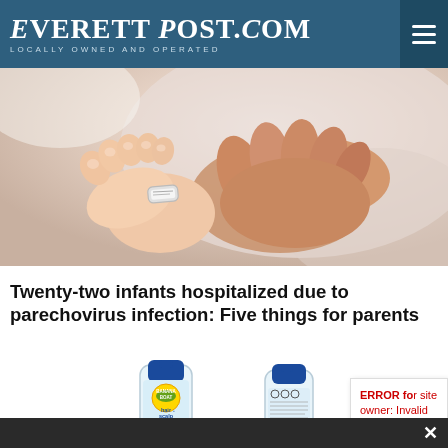EVERETT POST.COM — Locally Owned and Operated
[Figure (photo): Close-up photo of a baby's feet and an adult hand holding them, with a hospital ID band visible on the baby's ankle, soft light background.]
Twenty-two infants hospitalized due to parechovirus infection: Five things for parents
[Figure (photo): Two Banana Boat hair & scalp sunscreen spray bottles side by side, one showing the front label, the other showing the back/side label.]
ERROR for site owner: Invalid do...